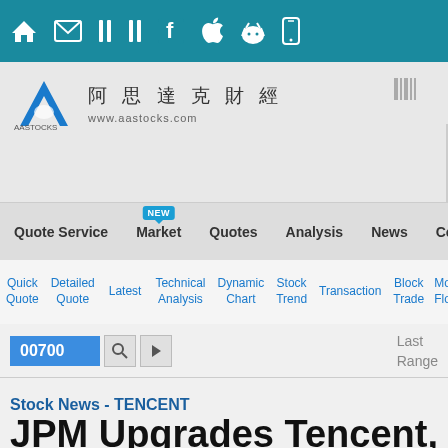Top navigation bar with home, email, social and mobile icons
[Figure (logo): AAStocks logo with Chinese characters 阿思達克財經 and website www.aastocks.com]
Quote Service | Market (NEW) | Quotes | Analysis | News | Commentary
Quick Quote | Detailed Quote | Latest | Technical Analysis | Dynamic Chart | Stock Trend | Transaction | Block Trade | Mon Flo
00700  Last  Range
Stock News - TENCENT
JPM Upgrades Tencent, Baba, Ma...